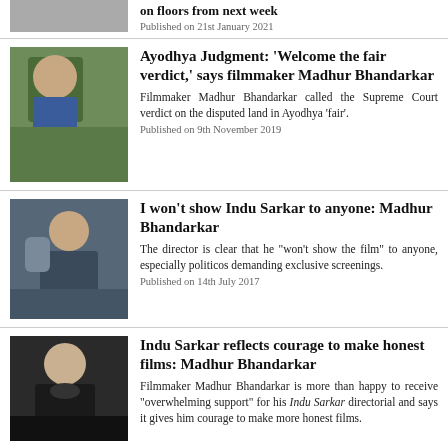[Figure (photo): Partial photo of a person, top cropped, stub at top of page]
on floors from next week
Published on 21st January 2021
[Figure (photo): Photo of filmmaker Madhur Bhandarkar outdoors with greenery behind]
Ayodhya Judgment: 'Welcome the fair verdict,' says filmmaker Madhur Bhandarkar
Filmmaker Madhur Bhandarkar called the Supreme Court verdict on the disputed land in Ayodhya 'fair'.
Published on 9th November 2019
[Figure (photo): Photo of filmmaker Madhur Bhandarkar sitting in a chair with camera equipment]
I won't show Indu Sarkar to anyone: Madhur Bhandarkar
The director is clear that he "won't show the film" to anyone, especially politicos demanding exclusive screenings.
Published on 14th July 2017
[Figure (photo): Photo of Madhur Bhandarkar in dark suit against dark background]
Indu Sarkar reflects courage to make honest films: Madhur Bhandarkar
Filmmaker Madhur Bhandarkar is more than happy to receive "overwhelming support" for his Indu Sarkar directorial and says it gives him courage to make more honest films.